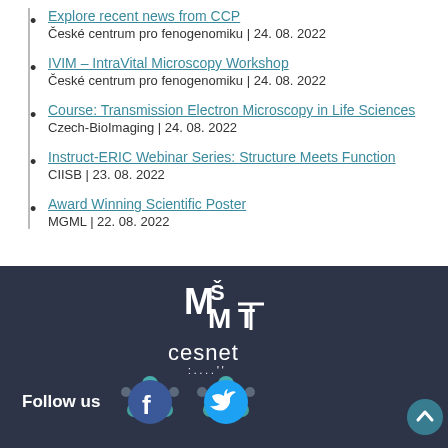Explore recent news from CCP
České centrum pro fenogenomiku | 24. 08. 2022
IVIM – IntraVital Microscopy Workshop
České centrum pro fenogenomiku | 24. 08. 2022
Course: Transmission Electron Microscopy in Life Sciences
Czech-BioImaging | 24. 08. 2022
Instruct-ERIC Webinar Series: Structure Meets Function
CIISB | 23. 08. 2022
Award Winning Scientific Poster
MGML | 22. 08. 2022
[Figure (logo): MŠMT (Czech Ministry of Education) logo in white on dark background]
[Figure (logo): CESNET logo in white on dark background]
Follow us
[Figure (logo): Facebook social icon with decorative circles]
[Figure (logo): Twitter social icon with decorative circles]